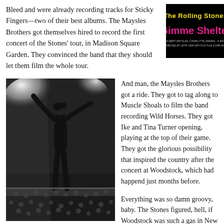Bleed and were already recording tracks for Sticky Fingers—two of their best albums. The Maysles Brothers got themselves hired to record the first concert of the Stones' tour, in Madison Square Garden. They convinced the band that they should let them film the whole tour.
[Figure (other): Movie poster for The Rolling Stones Gimme Shelter documentary film. Black background with yellow text 'The Rolling Stones' and pink/magenta text 'Gimme Shelter'. Small credits text below.]
[Figure (photo): Black and white concert photograph of a performer (Mick Jagger) on stage with arms raised, crowd visible in background, dramatic stage lighting.]
And man, the Maysles Brothers got a ride. They got to tag along to Muscle Shoals to film the band recording Wild Horses. They got Ike and Tina Turner opening, playing at the top of their game. They got the glorious possibility that inspired the country after the concert at Woodstock, which had happend just months before.
Everything was so damn groovy, baby. The Stones figured, hell, if Woodstock was such a gas in New York, imagine what we could pull off in California! So